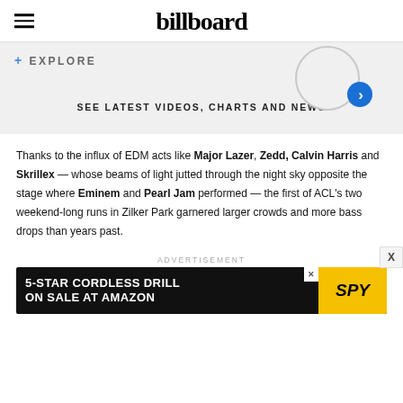billboard
+ EXPLORE
SEE LATEST VIDEOS, CHARTS AND NEWS
Thanks to the influx of EDM acts like Major Lazer, Zedd, Calvin Harris and Skrillex — whose beams of light jutted through the night sky opposite the stage where Eminem and Pearl Jam performed — the first of ACL's two weekend-long runs in Zilker Park garnered larger crowds and more bass drops than years past.
ADVERTISEMENT
[Figure (other): Advertisement banner: 5-STAR CORDLESS DRILL ON SALE AT AMAZON — SPY logo on yellow background]